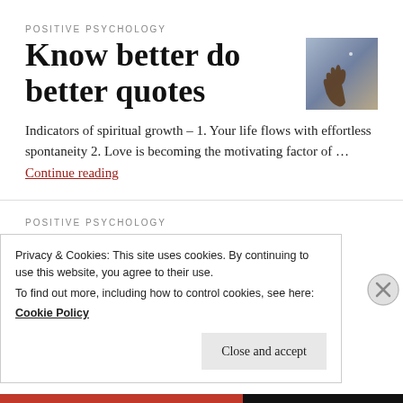POSITIVE PSYCHOLOGY
Know better do better quotes
[Figure (photo): Silhouette of a hand reaching up against a sky background]
Indicators of spiritual growth – 1. Your life flows with effortless spontaneity 2. Love is becoming the motivating factor of … Continue reading
POSITIVE PSYCHOLOGY
Wordless Wednesday
Privacy & Cookies: This site uses cookies. By continuing to use this website, you agree to their use.
To find out more, including how to control cookies, see here:
Cookie Policy
Close and accept